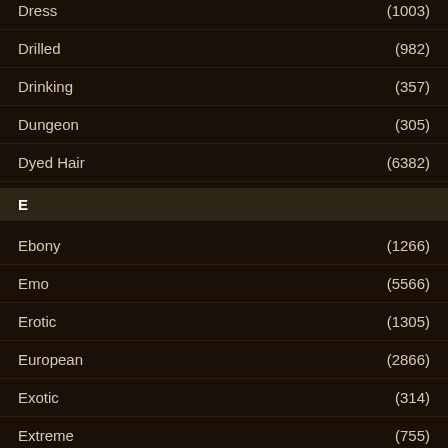Dress (1003)
Drilled (982)
Drinking (357)
Dungeon (305)
Dyed Hair (6382)
E
Ebony (1266)
Emo (5566)
Erotic (1305)
European (2866)
Exotic (314)
Extreme (755)